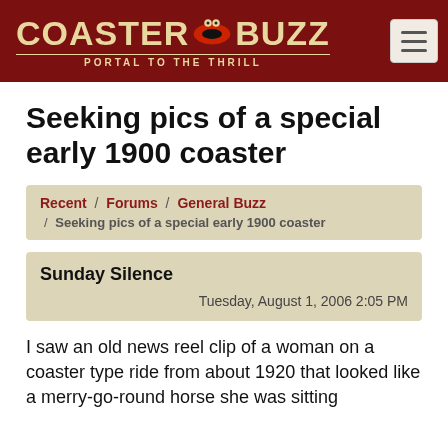COASTER BUZZ - PORTAL TO THE THRILL
Seeking pics of a special early 1900 coaster
Recent / Forums / General Buzz / Seeking pics of a special early 1900 coaster
Sunday Silence
Tuesday, August 1, 2006 2:05 PM
I saw an old news reel clip of a woman on a coaster type ride from about 1920 that looked like a merry-go-round horse she was sitting